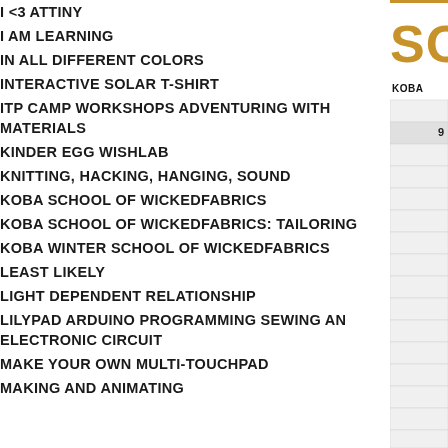I <3 ATTINY
I AM LEARNING
IN ALL DIFFERENT COLORS
INTERACTIVE SOLAR T-SHIRT
ITP CAMP WORKSHOPS ADVENTURING WITH MATERIALS
KINDER EGG WISHLAB
KNITTING, HACKING, HANGING, SOUND
KOBA SCHOOL OF WICKEDFABRICS
KOBA SCHOOL OF WICKEDFABRICS: TAILORING
KOBA WINTER SCHOOL OF WICKEDFABRICS
LEAST LIKELY
LIGHT DEPENDENT RELATIONSHIP
LILYPAD ARDUINO PROGRAMMING SEWING AN ELECTRONIC CIRCUIT
MAKE YOUR OWN MULTI-TOUCHPAD
MAKING AND ANIMATING
[Figure (other): Right column partial view showing a golden/amber colored header bar and large letters 'SO', with a label 'KOBA' and a table with striped rows and a single value cell.]